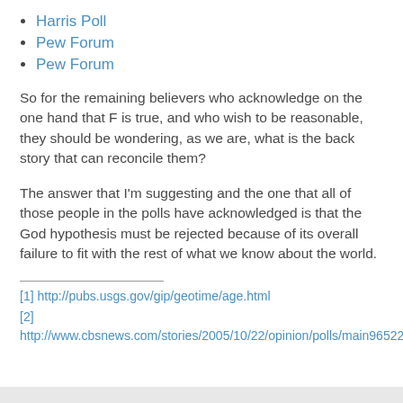Harris Poll
Pew Forum
Pew Forum
So for the remaining believers who acknowledge on the one hand that F is true, and who wish to be reasonable, they should be wondering, as we are, what is the back story that can reconcile them?
The answer that I'm suggesting and the one that all of those people in the polls have acknowledged is that the God hypothesis must be rejected because of its overall failure to fit with the rest of what we know about the world.
[1] http://pubs.usgs.gov/gip/geotime/age.html
[2] http://www.cbsnews.com/stories/2005/10/22/opinion/polls/main965223.shtml